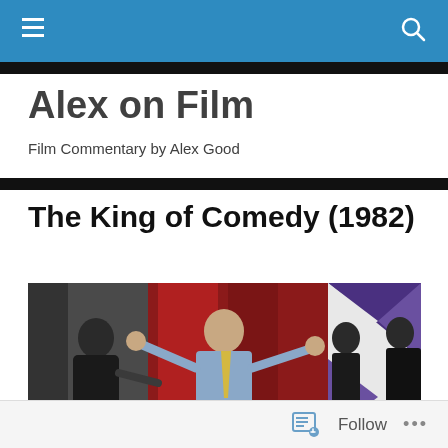Alex on Film — navigation bar with hamburger menu and search icon
Alex on Film
Film Commentary by Alex Good
The King of Comedy (1982)
[Figure (photo): Movie still from The King of Comedy (1982): a man in a blue suit with arms raised wide, flanked by two women, against a red panel backdrop with geometric purple and grey patterns]
Follow  •••